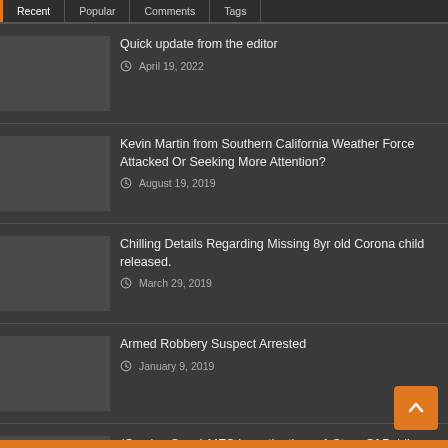Recent | Popular | Comments | Tags
Quick update from the editor — April 19, 2022
Kevin Martin from Southern California Weather Force Attacked Or Seeking More Attention? — August 19, 2019
Chilling Details Regarding Missing 8yr old Corona child released. — March 29, 2019
Armed Robbery Suspect Arrested — January 9, 2019
(Coming Soon) MES Investigation – A Story Of Public Corruption — March 26, 2018